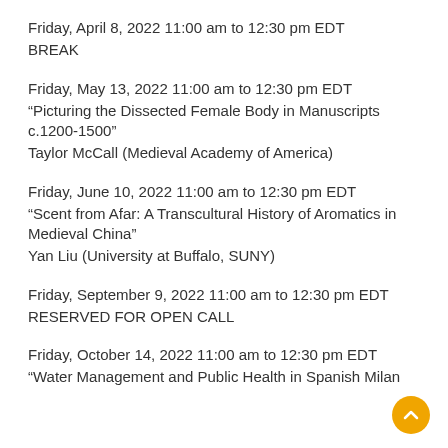Friday, April 8, 2022 11:00 am to 12:30 pm EDT
BREAK
Friday, May 13, 2022 11:00 am to 12:30 pm EDT
“Picturing the Dissected Female Body in Manuscripts c.1200-1500”
Taylor McCall (Medieval Academy of America)
Friday, June 10, 2022 11:00 am to 12:30 pm EDT
“Scent from Afar: A Transcultural History of Aromatics in Medieval China”
Yan Liu (University at Buffalo, SUNY)
Friday, September 9, 2022 11:00 am to 12:30 pm EDT
RESERVED FOR OPEN CALL
Friday, October 14, 2022 11:00 am to 12:30 pm EDT
“Water Management and Public Health in Spanish Milan